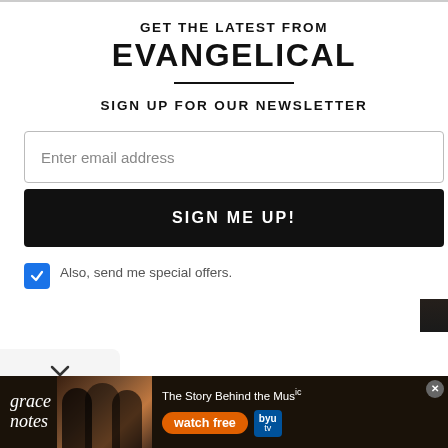GET THE LATEST FROM
EVANGELICAL
SIGN UP FOR OUR NEWSLETTER
Enter email address
SIGN ME UP!
Also, send me special offers.
[Figure (screenshot): Advertisement banner for 'grace notes' on BYU TV: The Story Behind the Music, watch free]
The Story Behind the Music watch free byu tv